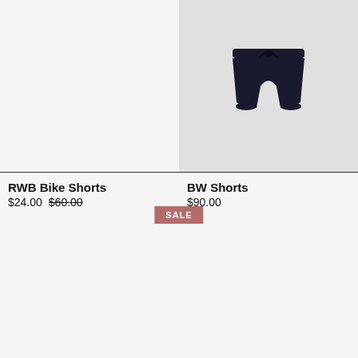[Figure (photo): Left product image area — blank/empty light gray background for RWB Bike Shorts]
[Figure (photo): Right product image — dark navy/black athletic shorts on gray background for BW Shorts]
RWB Bike Shorts
$24.00 $60.00
BW Shorts
$90.00
SALE